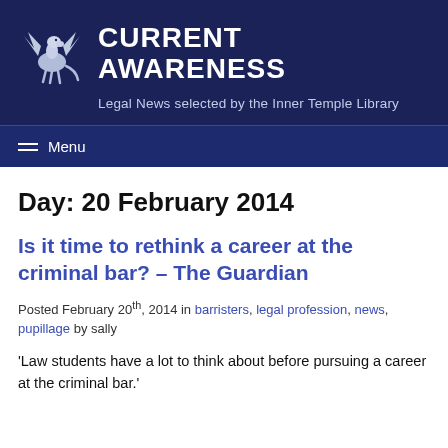CURRENT AWARENESS — Legal News selected by the Inner Temple Library
Day: 20 February 2014
Is it time to rethink a career at the criminal bar? – The Guardian
Posted February 20th, 2014 in barristers, legal profession, news, pupillage by sally
'Law students have a lot to think about before pursuing a career at the criminal bar.'